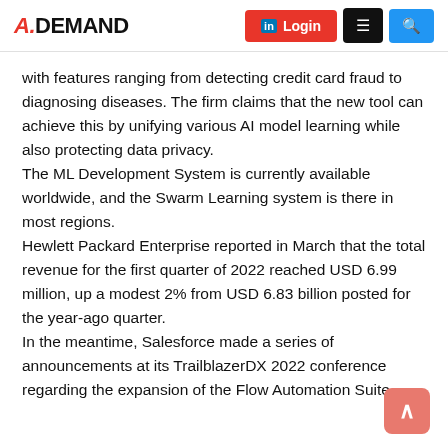A.DEMAND — Login, Menu, Search buttons
with features ranging from detecting credit card fraud to diagnosing diseases. The firm claims that the new tool can achieve this by unifying various AI model learning while also protecting data privacy.
The ML Development System is currently available worldwide, and the Swarm Learning system is there in most regions.
Hewlett Packard Enterprise reported in March that the total revenue for the first quarter of 2022 reached USD 6.99 million, up a modest 2% from USD 6.83 billion posted for the year-ago quarter.
In the meantime, Salesforce made a series of announcements at its TrailblazerDX 2022 conference regarding the expansion of the Flow Automation Suite.